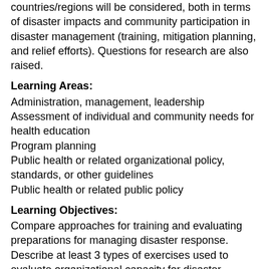countries/regions will be considered, both in terms of disaster impacts and community participation in disaster management (training, mitigation planning, and relief efforts). Questions for research are also raised.
Learning Areas:
Administration, management, leadership
Assessment of individual and community needs for health education
Program planning
Public health or related organizational policy, standards, or other guidelines
Public health or related public policy
Learning Objectives:
Compare approaches for training and evaluating preparations for managing disaster response. Describe at least 3 types of exercises used to evaluate organizational capacity for disaster management. Explain 2 ways "essential PH services" can be used to frame discussion of disaster management.
Keywords: Disasters, Global Education
Presenting author's disclosure statement: Qualified on the content I am responsible for because: I have participated in the programs described, including